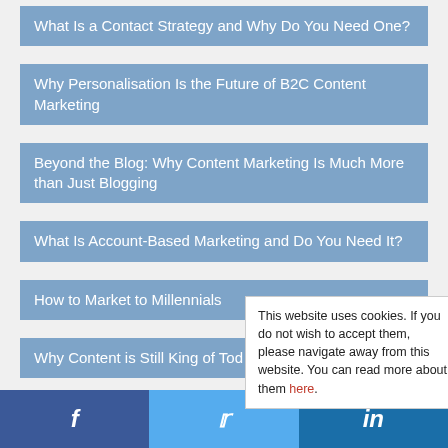What Is a Contact Strategy and Why Do You Need One?
Why Personalisation Is the Future of B2C Content Marketing
Beyond the Blog: Why Content Marketing Is Much More than Just Blogging
What Is Account-Based Marketing and Do You Need It?
How to Market to Millennials
Why Content is Still King of Tod…
How to Measure Your Social M…
This website uses cookies. If you do not wish to accept them, please navigate away from this website. You can read more about them here.